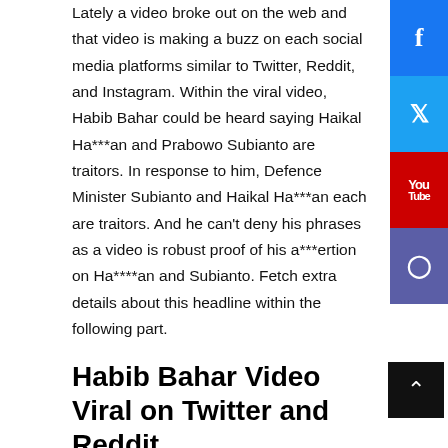Lately a video broke out on the web and that video is making a buzz on each social media platforms similar to Twitter, Reddit, and Instagram. Within the viral video, Habib Bahar could be heard saying Haikal Ha***an and Prabowo Subianto are traitors. In response to him, Defence Minister Subianto and Haikal Ha***an each are traitors. And he can't deny his phrases as a video is robust proof of his a***ertion on Ha****an and Subianto. Fetch extra details about this headline within the following part.
Habib Bahar Video Viral on Twitter and Reddit
The viral video is alleged to be a brief video. However, who leaked his video? As per the supply, this viral clip was first uploaded on Fb on Friday 20 Might 2022...